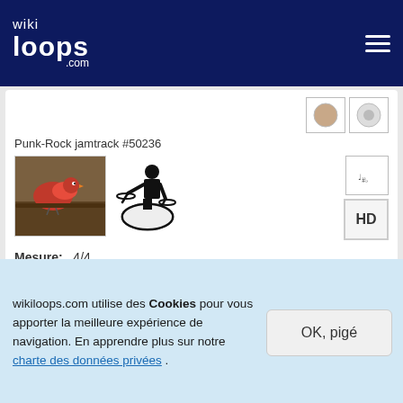wikiloops.com
Punk-Rock jamtrack #50236
Mesure: 4/4
Tempo: 122 BPM
voice
Punk-Rock jamtrack #25565
wikiloops.com utilise des Cookies pour vous apporter la meilleure expérience de navigation. En apprendre plus sur notre charte des données privées .